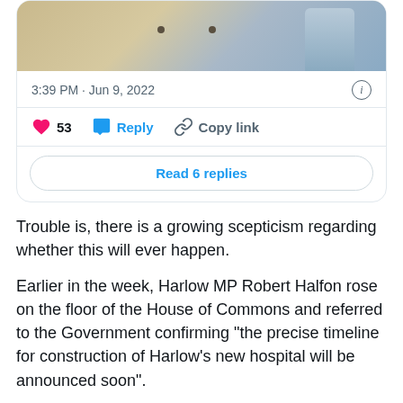[Figure (screenshot): Twitter/X tweet card showing a photo of a person outdoors, timestamp '3:39 PM · Jun 9, 2022', like count 53, Reply and Copy link actions, and a 'Read 6 replies' button.]
Trouble is, there is a growing scepticism regarding whether this will ever happen.
Earlier in the week, Harlow MP Robert Halfon rose on the floor of the House of Commons and referred to the Government confirming “the precise timeline for construction of Harlow’s new hospital will be announced soon”.
The Levelling Up Secretary, Michael Gove, confirmed that the detailed timeline for Harlow’s new hospital will be set out very soon.